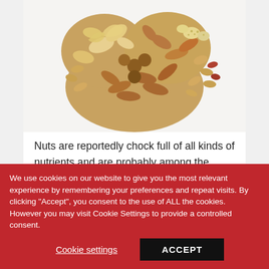[Figure (photo): A heart-shaped pile of mixed nuts including cashews, almonds, peanuts, and other varieties, viewed from above on a white background.]
Nuts are reportedly chock full of all kinds of nutrients and are probably among the healthiest of snacks. However, they are also among the most calorie-dense foods – a small handful of nuts (~30 g) can easily add
We use cookies on our website to give you the most relevant experience by remembering your preferences and repeat visits. By clicking "Accept", you consent to the use of ALL the cookies. However you may visit Cookie Settings to provide a controlled consent.